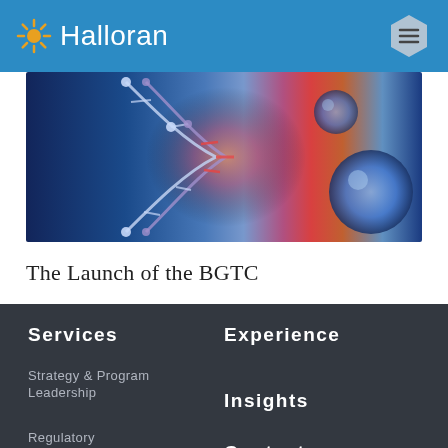Halloran
[Figure (photo): DNA double helix illustration with glowing orange-red center, blue cells in background, science/biotech themed image]
The Launch of the BGTC
Services
Experience
Strategy & Program
Leadership
Insights
Contact
Regulatory